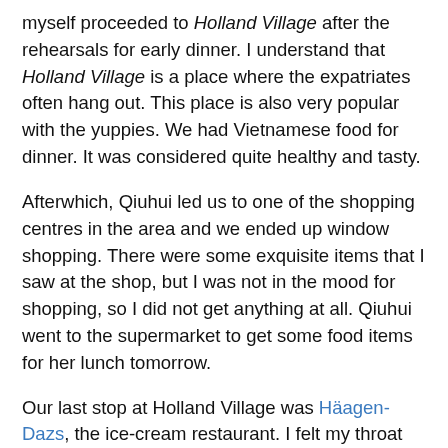myself proceeded to Holland Village after the rehearsals for early dinner. I understand that Holland Village is a place where the expatriates often hang out. This place is also very popular with the yuppies. We had Vietnamese food for dinner. It was considered quite healthy and tasty.
Afterwhich, Qiuhui led us to one of the shopping centres in the area and we ended up window shopping. There were some exquisite items that I saw at the shop, but I was not in the mood for shopping, so I did not get anything at all. Qiuhui went to the supermarket to get some food items for her lunch tomorrow.
Our last stop at Holland Village was Häagen-Dazs, the ice-cream restaurant. I felt my throat was not well for ice-cream, so I ordered a hazelnut cake. It was a little too sweet for my taste.
I was pretty tired by the time we left for the restaurant. Anyway, I was glad that I had played the fourth movement of the Tchaikovsky's Fifth Symphony for today's rehearsal. Somehow, it was replayed in my mind while I was on my way